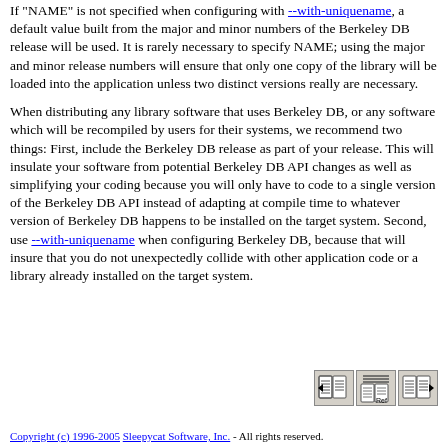If "NAME" is not specified when configuring with --with-uniquename, a default value built from the major and minor numbers of the Berkeley DB release will be used. It is rarely necessary to specify NAME; using the major and minor release numbers will ensure that only one copy of the library will be loaded into the application unless two distinct versions really are necessary.
When distributing any library software that uses Berkeley DB, or any software which will be recompiled by users for their systems, we recommend two things: First, include the Berkeley DB release as part of your release. This will insulate your software from potential Berkeley DB API changes as well as simplifying your coding because you will only have to code to a single version of the Berkeley DB API instead of adapting at compile time to whatever version of Berkeley DB happens to be installed on the target system. Second, use --with-uniquename when configuring Berkeley DB, because that will insure that you do not unexpectedly collide with other application code or a library already installed on the target system.
[Figure (other): Navigation buttons: previous page (book with left arrow), reference/table of contents (book with lines and 'Ref'), next page (book with right arrow)]
Copyright (c) 1996-2005 Sleepycat Software, Inc. - All rights reserved.